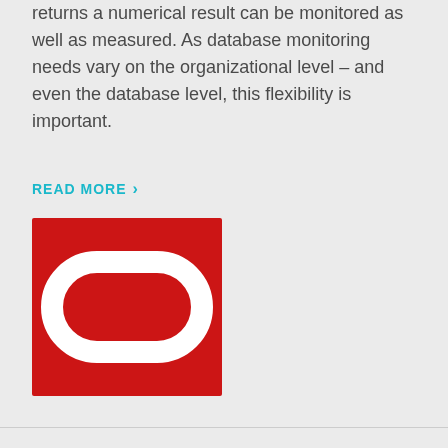returns a numerical result can be monitored as well as measured. As database monitoring needs vary on the organizational level – and even the database level, this flexibility is important.
READ MORE ›
[Figure (logo): Oracle logo: red square background with a white rounded rectangle (stadium/pill shape outline) in the center]